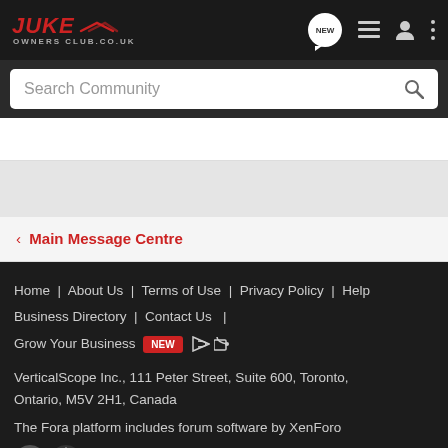[Figure (logo): Juke Owners Club logo - red italic JUKE text with racing swoosh and OWNERS CLUB.CO.UK subtitle]
[Figure (screenshot): Header navigation icons: NEW speech bubble, list icon, user icon, vertical dots menu]
Search Community
< Main Message Centre
Home | About Us | Terms of Use | Privacy Policy | Help | Business Directory | Contact Us | Grow Your Business NEW
VerticalScope Inc., 111 Peter Street, Suite 600, Toronto, Ontario, M5V 2H1, Canada
The Fora platform includes forum software by XenForo